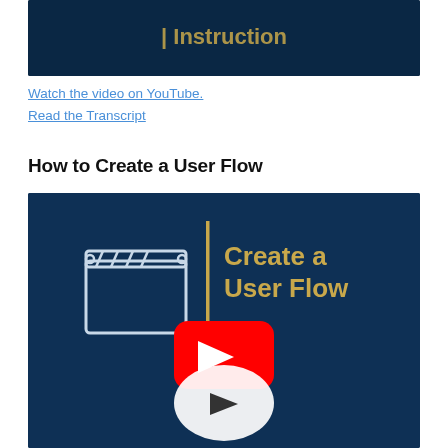[Figure (screenshot): Dark navy blue video thumbnail header — partial view of a previous video thumbnail with gold/blue text partially visible]
Watch the video on YouTube.
Read the Transcript
How to Create a User Flow
[Figure (screenshot): Navy blue video thumbnail showing a film clapperboard icon on the left with a vertical gold divider bar and gold text reading 'Create a User Flow' on the right, with a YouTube play button overlay in the center-bottom area]